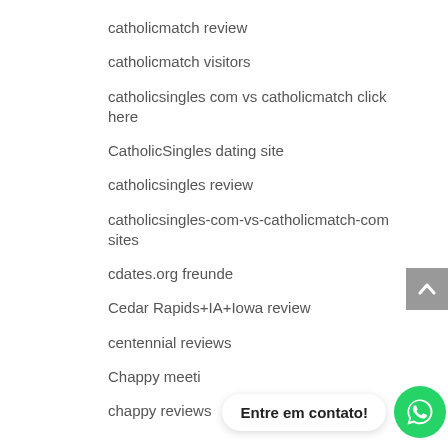catholicmatch review
catholicmatch visitors
catholicsingles com vs catholicmatch click here
CatholicSingles dating site
catholicsingles review
catholicsingles-com-vs-catholicmatch-com sites
cdates.org freunde
Cedar Rapids+IA+Iowa review
centennial reviews
Chappy meeti
chappy reviews